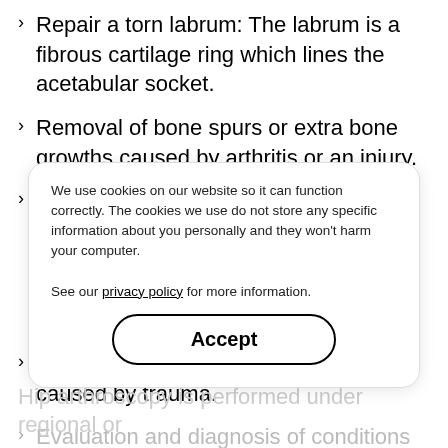Repair a torn labrum: The labrum is a fibrous cartilage ring which lines the acetabular socket.
Removal of bone spurs or extra bone growths caused by arthritis or an injury.
Removal of part of the inflamed synovium (lining of the joint) in patients with inflammatory arthritis. This procedure is called a partial synovectomy.
Repair of fractures or torn ligaments caused by trauma.
Evaluation and diagnosis of conditions with unexplained pain, swelling, or stiffness in the hip that does not respond to conservative treatment.
Hip arthroscopy is performed under regional or
We use cookies on our website so it can function correctly. The cookies we use do not store any specific information about you personally and they won't harm your computer. See our privacy policy for more information.